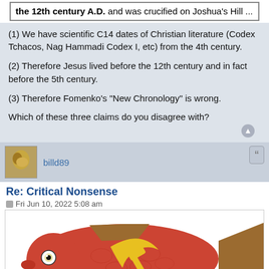the 12th century A.D. and was crucified on Joshua's Hill ...
(1) We have scientific C14 dates of Christian literature (Codex Tchacos, Nag Hammadi Codex I, etc) from the 4th century.
(2) Therefore Jesus lived before the 12th century and in fact before the 5th century.
(3) Therefore Fomenko's "New Chronology" is wrong.
Which of these three claims do you disagree with?
billd89
Re: Critical Nonsense
Fri Jun 10, 2022 5:08 am
[Figure (photo): A red fish with a yellow Soviet hammer and sickle symbol on its side.]